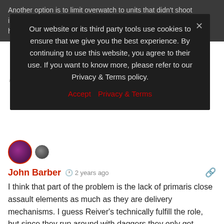Another option is to limit overwatch to units that didn't shoot in the shooting phase, but this option for unit will also ha…
Our website or its third party tools use cookies to ensure that we give you the best experience. By continuing to use this website, you agree to their use. If you want to know more, please refer to our Privacy & Terms policy.
Accept   Privacy & Terms
[Figure (photo): Purple avatar with red border and small gray avatar beside it]
John Barber  2 years ago
I think that part of the problem is the lack of primaris close assault elements as much as they are delivery mechanisms. I guess Reiver's technically fulfill the role, but since they run around with daggers they only get their… fangs… in turn 3.
∧ 1 ∨   View Replies (2) ∨
[Figure (photo): Dark circular avatar]
Michael Wemken  2 years ago
As always, thanks for the entertainment in these grim dark times. SotB certainly missed the opportunity to fix what was